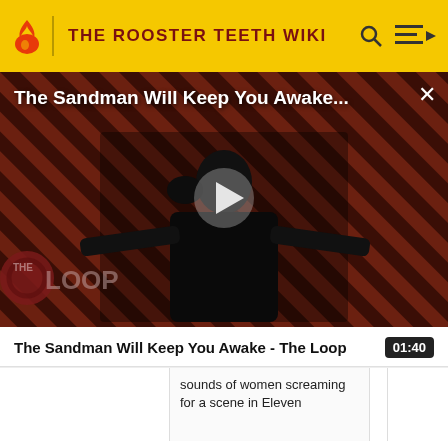THE ROOSTER TEETH WIKI
[Figure (screenshot): Video thumbnail for 'The Sandman Will Keep You Awake - The Loop' showing a dark-cloaked figure against a red and black diagonal striped background with The Loop logo overlay and a play button in the center.]
The Sandman Will Keep You Awake - The Loop
01:40
sounds of women screaming for a scene in Eleven